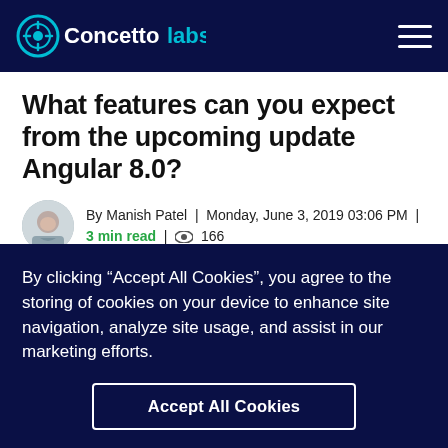Concetto Labs
What features can you expect from the upcoming update Angular 8.0?
By Manish Patel | Monday, June 3, 2019 03:06 PM | 3 min read | 166
[Figure (photo): Red banner/hero image for the Angular 8.0 article, partially visible]
By clicking “Accept All Cookies”, you agree to the storing of cookies on your device to enhance site navigation, analyze site usage, and assist in our marketing efforts.
Accept All Cookies